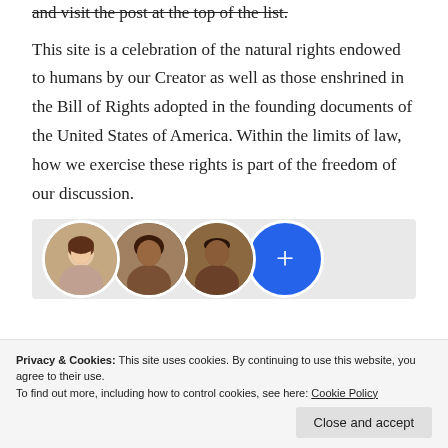and visit the post at the top of the list.
This site is a celebration of the natural rights endowed to humans by our Creator as well as those enshrined in the Bill of Rights adopted in the founding documents of the United States of America. Within the limits of law, how we exercise these rights is part of the freedom of our discussion.
[Figure (photo): A row of four circular avatar photos/icons showing three people and a blue plus button, on a light grey background.]
Privacy & Cookies: This site uses cookies. By continuing to use this website, you agree to their use. To find out more, including how to control cookies, see here: Cookie Policy
Close and accept